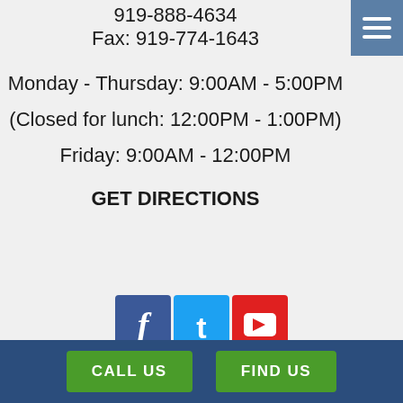919-888-4634
Fax: 919-774-1643
Monday - Thursday: 9:00AM - 5:00PM
(Closed for lunch: 12:00PM - 1:00PM)
Friday: 9:00AM - 12:00PM
GET DIRECTIONS
[Figure (infographic): Social media icons: Facebook (blue), Twitter (light blue), YouTube (red)]
[Figure (logo): Best of the... circular badge/seal with teal sunburst design]
CALL US   FIND US